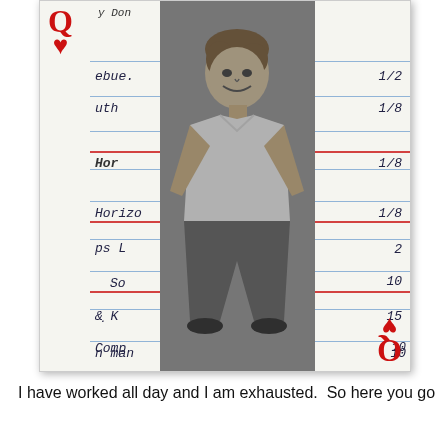[Figure (photo): A playing card (Queen of Hearts) with a black-and-white photograph of a young smiling man overlaid on a handwritten lined card listing items with numbers. The card shows Q and a heart symbol in the top-left and bottom-right corners. Handwritten text visible includes partial words: 'Don', 'ebue.', '1/2', 'uth', '1/8', 'Hor', '1/8', 'Horizo', '1/8', 'ps L', '2', 'So', '10', '& K', '15', 'Comp', '10', 'n man', '10'. Red underlines appear under some entries.]
I have worked all day and I am exhausted.  So here you go